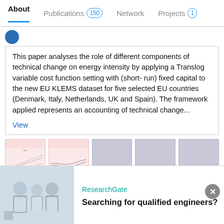About  Publications 150  Network  Projects 1
This paper analyses the role of different components of technical change on energy intensity by applying a Translog variable cost function setting with (short- run) fixed capital to the new EU KLEMS dataset for five selected EU countries (Denmark, Italy, Netherlands, UK and Spain). The framework applied represents an accounting of technical change...
View
[Figure (other): Five thumbnail images of charts/figures from a publication. First two show line charts on pink background, last three are gray placeholder boxes.]
WIFO White Paper: Technological Change and Productivity. Disaggregated Contributions to Growth in Austria Since 1998
[Figure (screenshot): Advertisement banner from ResearchGate. Shows group of scientists/engineers on the left, with text 'ResearchGate' and 'Searching for qualified engineers?' on the right. Has a close (X) button.]